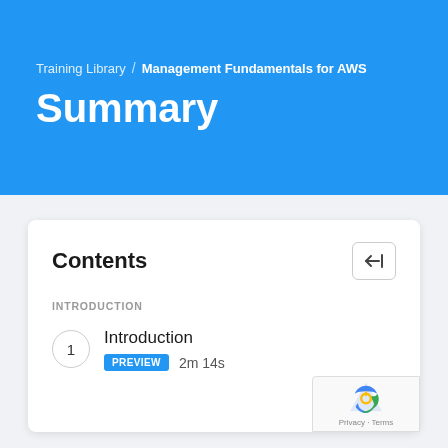Training Library / Management Fundamentals for AWS
Summary
Contents
INTRODUCTION
1  Introduction  PREVIEW  2m 14s